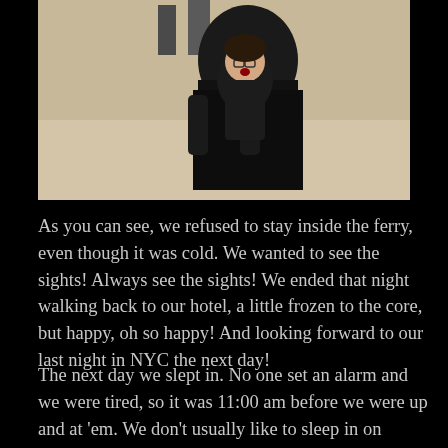[Figure (photo): Two people standing together in what appears to be a large indoor hall or station, both wearing dark winter coats. The person in front appears to be a child with glasses and mouth open, and behind them is a taller person. The background shows a light-colored marble or stone floor and walls.]
As you can see, we refused to stay inside the ferry, even though it was cold. We wanted to see the sights! Always see the sights! We ended that night walking back to our hotel, a little frozen to the core, but happy, oh so happy! And looking forward to our last night in NYC the next day!
The next day we slept in. No one set an alarm and we were tired, so it was 11:00 am before we were up and at 'em. We don't usually like to sleep in on vacation, so much to see, but it occasionally happens. This was a more relaxing day, still packed full of sights like Central